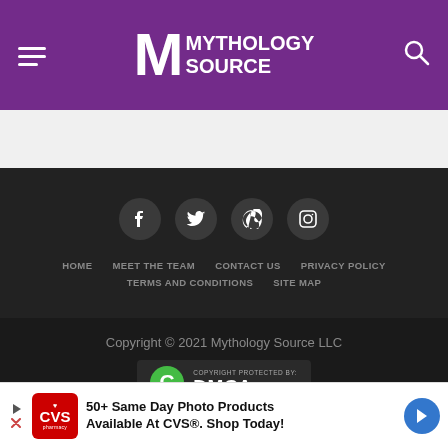Mythology Source
[Figure (other): Social media icon buttons: Facebook, Twitter, Pinterest, Instagram in dark grey circles]
HOME   MEET THE TEAM   CONTACT US   PRIVACY POLICY   TERMS AND CONDITIONS   SITE MAP
Copyright © 2021 Mythology Source LLC
[Figure (logo): DMCA.com copyright protection badge with green C logo]
AN ELITE CAFEMEDIA PUBLISHER
50+ Same Day Photo Products Available At CVS®. Shop Today!